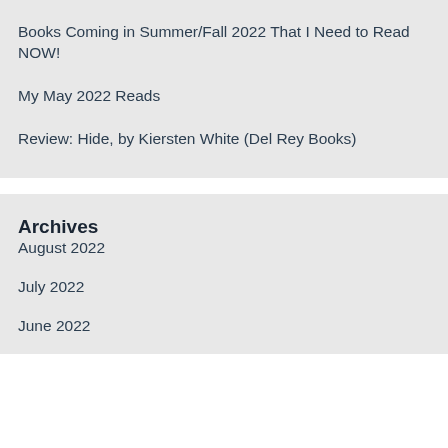Books Coming in Summer/Fall 2022 That I Need to Read NOW!
My May 2022 Reads
Review: Hide, by Kiersten White (Del Rey Books)
Archives
August 2022
July 2022
June 2022